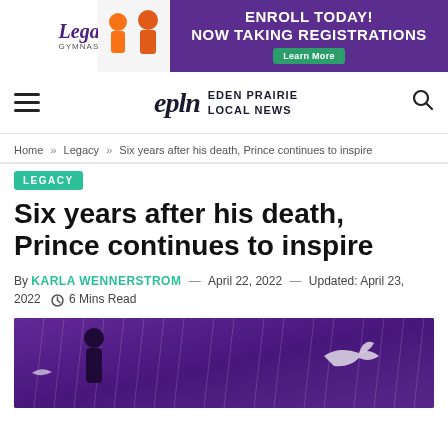[Figure (other): Legacy Gymnastics advertisement banner. Left side shows children in gymnastics attire on white background with Legacy Gymnastics logo. Right side is purple with text 'ENROLL TODAY! NOW TAKING REGISTRATIONS' and a green 'Learn More' button.]
epln EDEN PRAIRIE LOCAL NEWS
Home » Legacy » Six years after his death, Prince continues to inspire
LEGACY
Six years after his death, Prince continues to inspire
By KARLA WENNERSTROM — April 22, 2022 — Updated: April 23, 2022  6 Mins Read
[Figure (illustration): Purple-toned artistic illustration with silhouette figure and white dove/bird shapes, rain, suggesting a Prince memorial tribute image.]